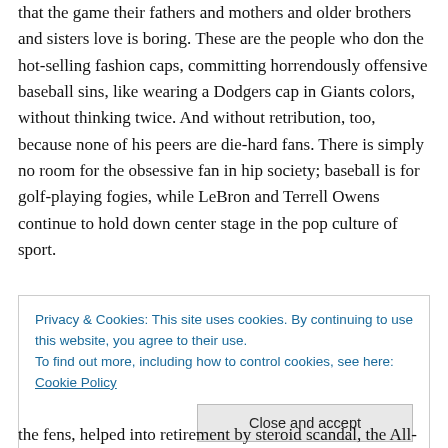that the game their fathers and mothers and older brothers and sisters love is boring. These are the people who don the hot-selling fashion caps, committing horrendously offensive baseball sins, like wearing a Dodgers cap in Giants colors, without thinking twice. And without retribution, too, because none of his peers are die-hard fans. There is simply no room for the obsessive fan in hip society; baseball is for golf-playing fogies, while LeBron and Terrell Owens continue to hold down center stage in the pop culture of sport.
Privacy & Cookies: This site uses cookies. By continuing to use this website, you agree to their use.
To find out more, including how to control cookies, see here: Cookie Policy
[Close and accept]
the fens, helped into retirement by steroid scandal, the All-